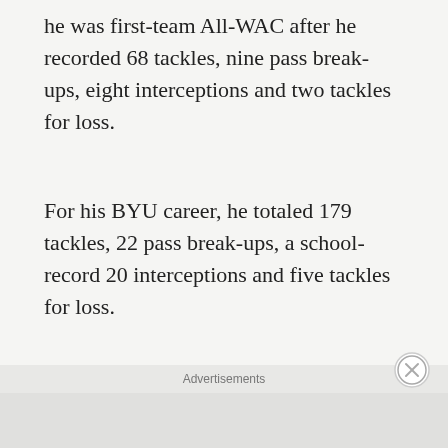he was first-team All-WAC after he recorded 68 tackles, nine pass break-ups, eight interceptions and two tackles for loss.
For his BYU career, he totaled 179 tackles, 22 pass break-ups, a school-record 20 interceptions and five tackles for loss.
25. Brad Anae, defensive end (1979–1981)
Anae was a terrific pass rusher during his time with the Cougars. He was two-time first-team All-WAC selection and an AP honorable mention All-American. His most productive
Advertisements